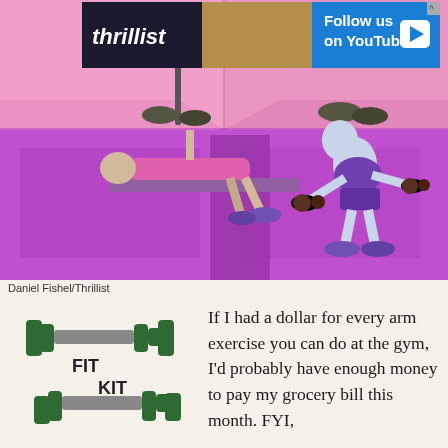[Figure (screenshot): Thrillist Follow us on YouTube advertisement banner with logo, photo, and blue CTA button]
[Figure (illustration): Fitness exercise illustrations on pink/purple background showing people doing bench press, standing exercises, and weightlifting with dumbbells]
Daniel Fishel/Thrillist
[Figure (logo): Fit Kit logo with two dark green dumbbells/barbells crossed with text FIT KIT in the center]
If I had a dollar for every arm exercise you can do at the gym, I'd probably have enough money to pay my grocery bill this month. FYI,